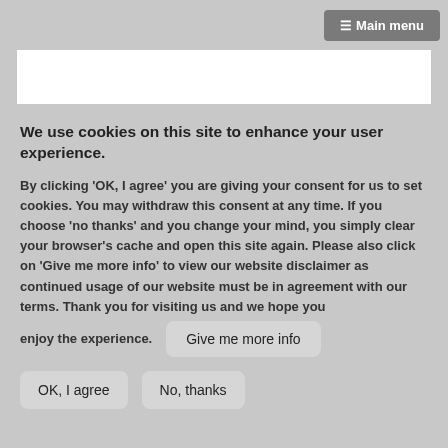≡ Main menu
We use cookies on this site to enhance your user experience.
By clicking 'OK, I agree' you are giving your consent for us to set cookies. You may withdraw this consent at any time. If you choose 'no thanks' and you change your mind, you simply clear your browser's cache and open this site again. Please also click on 'Give me more info' to view our website disclaimer as continued usage of our website must be in agreement with our terms. Thank you for visiting us and we hope you enjoy the experience.
Give me more info
OK, I agree
No, thanks